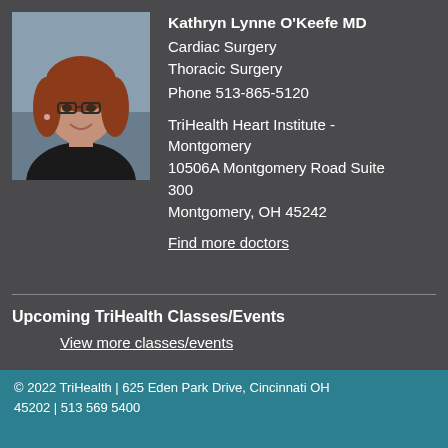[Figure (photo): Professional headshot of Kathryn Lynne O'Keefe MD, a woman with red hair and glasses, wearing a dark jacket, smiling.]
Kathryn Lynne O'Keefe MD
Cardiac Surgery
Thoracic Surgery
Phone 513-865-5120

TriHealth Heart Institute - Montgomery
10506A Montgomery Road Suite 300
Montgomery, OH 45242
Find more doctors
Upcoming TriHealth Classes/Events
View more classes/events
© 2022 TriHealth | 625 Eden Park Drive, Cincinnati OH 45202 | 513 569 5400